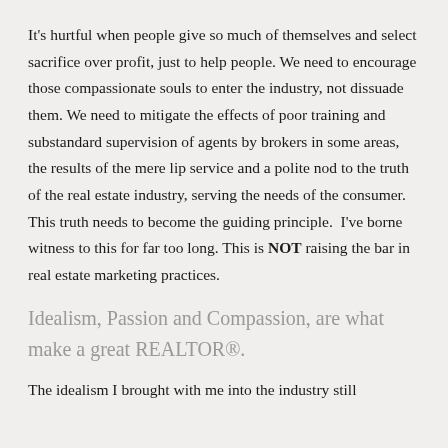It's hurtful when people give so much of themselves and select sacrifice over profit, just to help people. We need to encourage those compassionate souls to enter the industry, not dissuade them. We need to mitigate the effects of poor training and substandard supervision of agents by brokers in some areas, the results of the mere lip service and a polite nod to the truth of the real estate industry, serving the needs of the consumer. This truth needs to become the guiding principle.  I've borne witness to this for far too long. This is NOT raising the bar in real estate marketing practices.
Idealism, Passion and Compassion, are what make a great REALTOR®.
The idealism I brought with me into the industry still